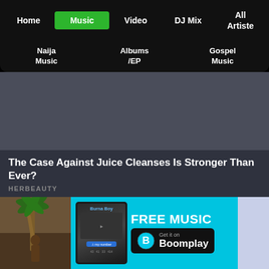Home | Music | Video | DJ Mix | All Artiste
Naija Music | Albums /EP | Gospel Music
[Figure (screenshot): Dark blue-grey banner content area placeholder]
The Case Against Juice Cleanses Is Stronger Than Ever?
HERBEAUTY
[Figure (photo): Person near palm trees, bottom left corner]
[Figure (infographic): Boomplay advertisement with phone thumbnail showing Burna Boy, FREE MUSIC text, and Get it on Boomplay button on cyan background]